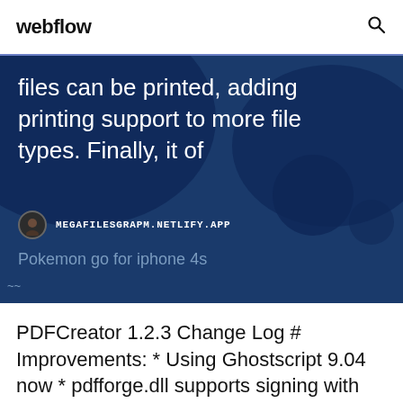webflow
[Figure (screenshot): Blue banner section with large white text reading 'files can be printed, adding printing support to more file types. Finally, it of' over a dark blue background with blob shapes, a small avatar icon, URL 'MEGAFILESGRAPM.NETLIFY.APP', and subtext 'Pokemon go for iphone 4s']
PDFCreator 1.2.3 Change Log # Improvements: * Using Ghostscript 9.04 now * pdfforge.dll supports signing with timestamp and lot of new